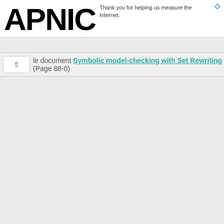[Figure (logo): APNIC logo in large bold black text]
Thank you for helping us measure the Internet.
le document Symbolic model-checking with Set Rewriting (Page 88-0)